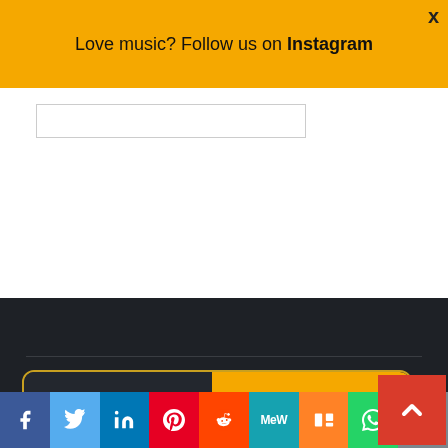Love music? Follow us on Instagram
[Figure (logo): Melody Insider logo — dark rounded rectangle with 'MELODY' in white on dark background and 'INSIDER' in black on amber/orange background]
Copyright © All rights reserved. | Theme: Elegant Magazine by AF themes.
[Figure (infographic): Social sharing bar with icons: Facebook (blue), Twitter (light blue), LinkedIn (dark blue), Pinterest (red), Reddit (orange-red), MeWe (teal), Mix (orange), WhatsApp (green), Share (grey)]